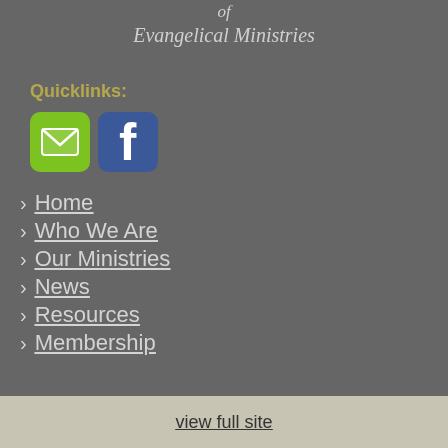of
Evangelical Ministries
Quicklinks:
[Figure (other): Email icon (green square with envelope) and Facebook icon (blue square with white F)]
Home
Who We Are
Our Ministries
News
Resources
Membership
view full site